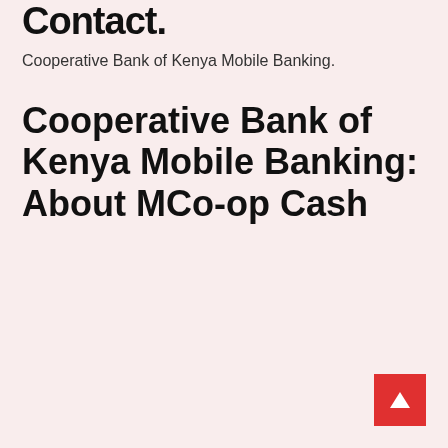Contact.
Cooperative Bank of Kenya Mobile Banking.
Cooperative Bank of Kenya Mobile Banking: About MCo-op Cash